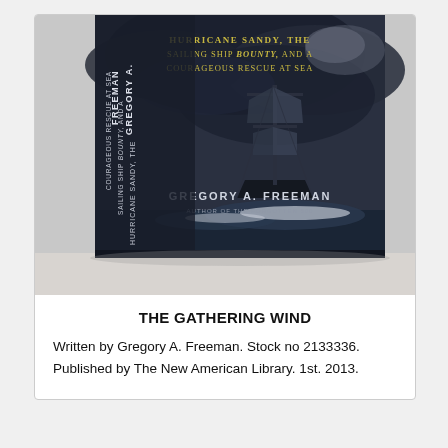[Figure (photo): Photo of the book 'The Gathering Wind' by Gregory A. Freeman, showing the cover and spine. The cover features a dark stormy sky with a tall sailing ship on rough seas. The title text on the cover reads 'Hurricane Sandy, the Sailing Ship Bounty, and a Courageous Rescue at Sea' by Gregory A. Freeman, Author of The Forgotten 500.]
THE GATHERING WIND
Written by Gregory A. Freeman. Stock no 2133336. Published by The New American Library. 1st. 2013.